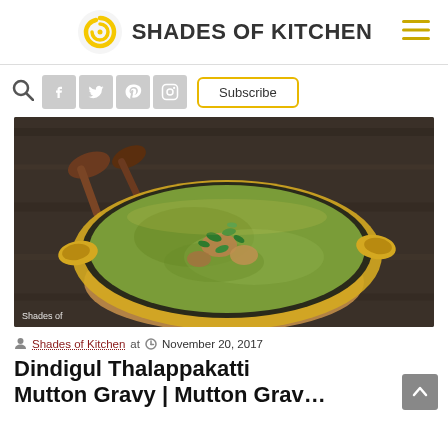SHADES OF KITCHEN
[Figure (logo): Yellow spiral logo for Shades of Kitchen website with hamburger menu icon on the right]
[Figure (photo): A brass/gold balti dish containing green Dindigul Thalappakatti Mutton Gravy garnished with coriander leaves, placed on a wooden board with wooden spoons in the background. Watermark: Shades of]
Shades of Kitchen at  November 20, 2017
Dindigul Thalappakatti Mutton Gravy | Mutton Grav…